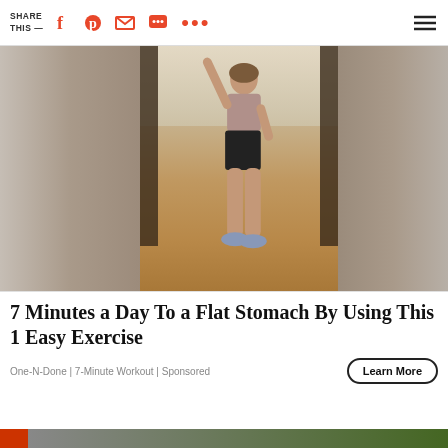SHARE THIS —
[Figure (photo): Woman in workout clothes (sports bra and black shorts) with one arm raised, standing in a hallway with hardwood floors. Image has blurred edges on the sides.]
7 Minutes a Day To a Flat Stomach By Using This 1 Easy Exercise
One-N-Done | 7-Minute Workout | Sponsored
Learn More